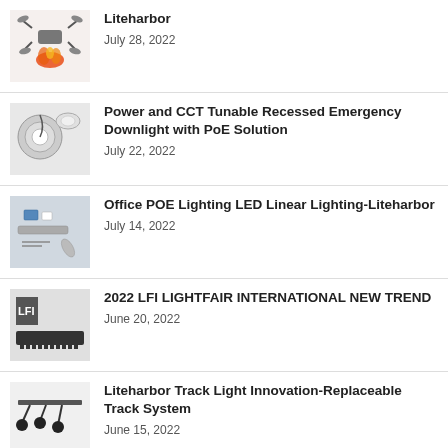Liteharbor
July 28, 2022
Power and CCT Tunable Recessed Emergency Downlight with PoE Solution
July 22, 2022
Office POE Lighting LED Linear Lighting-Liteharbor
July 14, 2022
2022 LFI LIGHTFAIR INTERNATIONAL NEW TREND
June 20, 2022
Liteharbor Track Light Innovation-Replaceable Track System
June 15, 2022